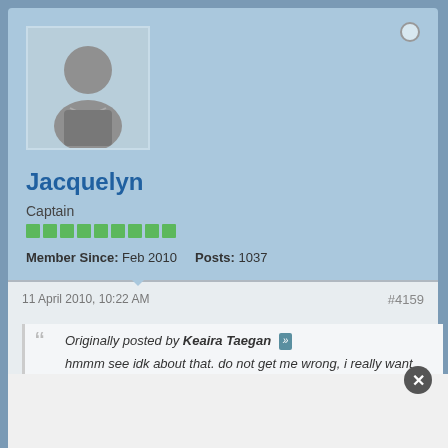[Figure (illustration): Default grey silhouette avatar of a person in a light blue square]
Jacquelyn
Captain
Member Since: Feb 2010   Posts: 1037
11 April 2010, 10:22 AM
#4159
Originally posted by Keaira Taegan »
hmmm see idk about that. do not get me wrong, i really want themt together OBVIOUSLY! but i see his mortality as being a slight hinderance, atleast for Helen. I can definately see it, possibly getting the fire under Nikola so fo so